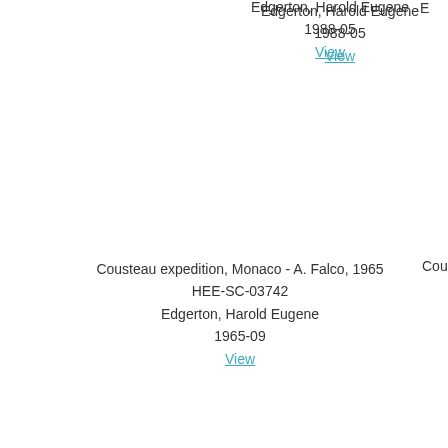Edgerton, Harold Eugene
1988-05
View
Cousteau expedition, Monaco - A. Falco, 1965
HEE-SC-03742
Edgerton, Harold Eugene
1965-09
View
Cousteau e